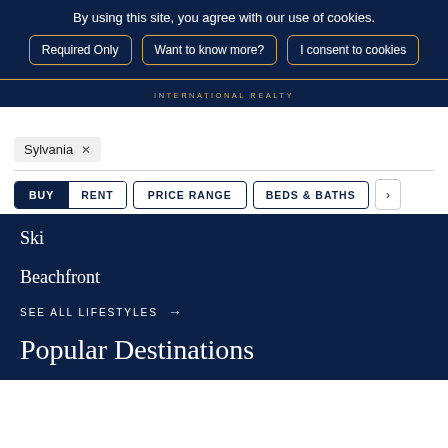By using this site, you agree with our use of cookies.
Required Only
Want to know more?
I consent to cookies
INTERNATIONAL REALTY
Sylvania ×
BUY
RENT
PRICE RANGE
BEDS & BATHS
Ski
Beachfront
SEE ALL LIFESTYLES →
Popular Destinations
Find homes in the most popular destinations...